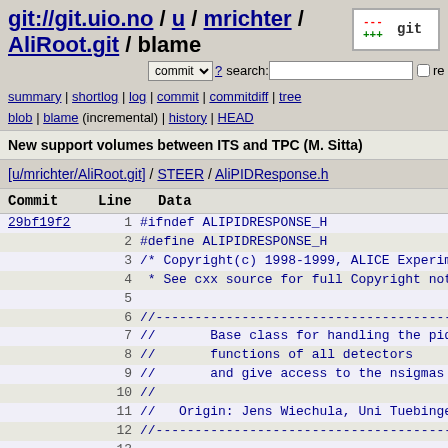git://git.uio.no / u / mrichter / AliRoot.git / blame
summary | shortlog | log | commit | commitdiff | tree blob | blame (incremental) | history | HEAD
New support volumes between ITS and TPC (M. Sitta)
[u/mrichter/AliRoot.git] / STEER / AliPIDResponse.h
| Commit | Line | Data |
| --- | --- | --- |
| 29bf19f2 | 1 | #ifndef ALIPIDRESPONSE_H |
|  | 2 | #define ALIPIDRESPONSE_H |
|  | 3 | /* Copyright(c) 1998-1999, ALICE Experiment |
|  | 4 |  * See cxx source for full Copyright notice |
|  | 5 |  |
|  | 6 | //-------------------------------------------- |
|  | 7 | //       Base class for handling the pid re |
|  | 8 | //       functions of all detectors |
|  | 9 | //       and give access to the nsigmas |
|  | 10 | // |
|  | 11 | //   Origin: Jens Wiechula, Uni Tuebingen, j |
|  | 12 | //-------------------------------------------- |
|  | 13 |  |
|  | 14 | #include "AliITSPIDResponse.h" |
|  | 15 | #include "AliTPCPIDResponse.h" |
|  | 16 | #include "AliTRDPIDResponse.h" |
|  | 17 | #include "AliTOFPIDResponse.h" |
|  | 18 |  |